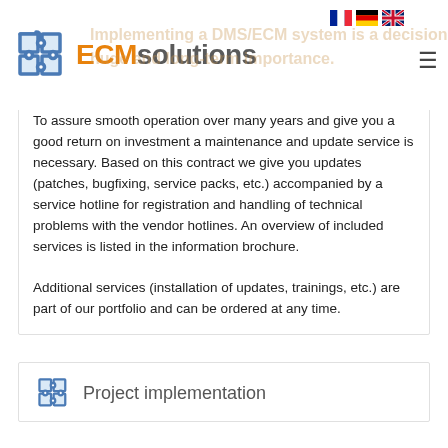[Figure (logo): ECMsolutions logo with puzzle-piece icon in blue/orange]
Implementing a DMS/ECM system is a decision of huge and long-term importance. To assure smooth operation over many years and give you a good return on investment a maintenance and update service is necessary. Based on this contract we give you updates (patches, bugfixing, service packs, etc.) accompanied by a service hotline for registration and handling of technical problems with the vendor hotlines. An overview of included services is listed in the information brochure. Additional services (installation of updates, trainings, etc.) are part of our portfolio and can be ordered at any time.
Project implementation